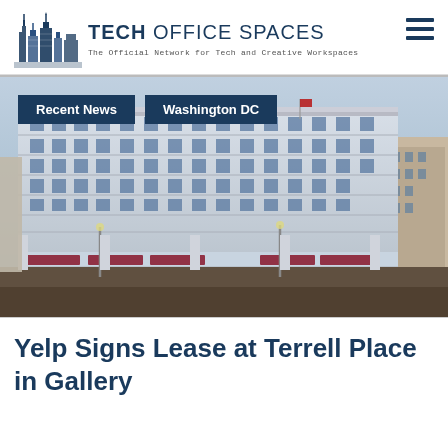TECH OFFICE SPACES – The Official Network for Tech and Creative Workspaces
[Figure (photo): Exterior photo of Terrell Place building in Washington DC, a large neoclassical white stone office building at a street corner with American flags and storefronts at street level. Tagged with 'Recent News' and 'Washington DC' badges.]
Yelp Signs Lease at Terrell Place in Gallery